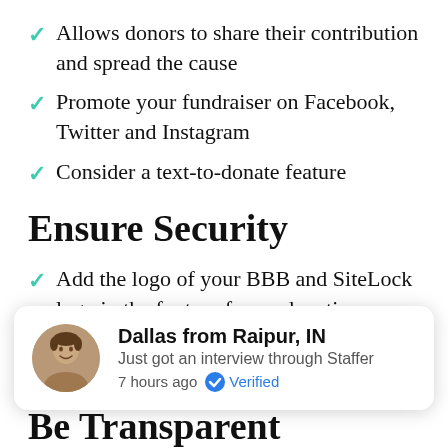Allows donors to share their contribution and spread the cause
Promote your fundraiser on Facebook, Twitter and Instagram
Consider a text-to-donate feature
Ensure Security
Add the logo of your BBB and SiteLock logo in the footer of your donation banner. This will build trust and confidence in potential
[Figure (infographic): Notification popup showing a photo of a man, name 'Dallas from Raipur, IN', text 'Just got an interview through Staffer', '7 hours ago', blue verified badge and 'Verified' label]
Be Transparent